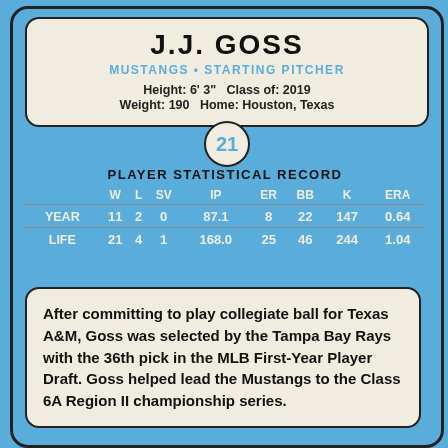J.J. GOSS
MUSTANGS • STARTING PITCHER
Height: 6' 3"  Class of: 2019
Weight: 190  Home: Houston, Texas
21
PLAYER STATISTICAL RECORD
|  | W | L | SV | IP | ER | BB | K | ERA |
| --- | --- | --- | --- | --- | --- | --- | --- | --- |
| YEAR | 11 | 2 | 0 | 87.1 | 8 | 22 | 147 | 0.64 |
| LIFE | 21 | 4 | 1 | 168.0 | 25 | 46 | 244 | 1.04 |
After committing to play collegiate ball for Texas A&M, Goss was selected by the Tampa Bay Rays with the 36th pick in the MLB First-Year Player Draft. Goss helped lead the Mustangs to the Class 6A Region II championship series.